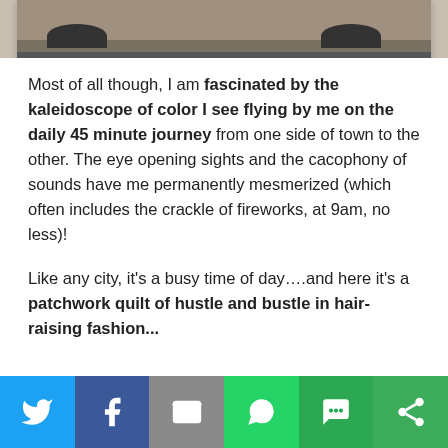[Figure (photo): Partial photo of a vehicle, showing bottom of car/wheels against pavement, cropped at top of page]
Most of all though, I am fascinated by the kaleidoscope of color I see flying by me on the daily 45 minute journey from one side of town to the other. The eye opening sights and the cacophony of sounds have me permanently mesmerized (which often includes the crackle of fireworks, at 9am, no less)!
Like any city, it's a busy time of day….and here it's a patchwork quilt of hustle and bustle in hair-raising fashion...
[Figure (infographic): Social sharing bar with icons: Twitter (blue), Facebook (dark blue), Email (gray), WhatsApp (green), SMS (green), Share (green)]